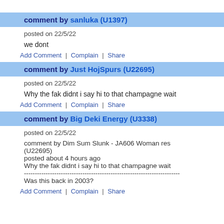Add Comment | Complain | Share
comment by sanluka (U1397)
posted on 22/5/22
we dont
Add Comment | Complain | Share
comment by Just HojSpurs (U22695)
posted on 22/5/22
Why the fak didnt i say hi to that champagne wait
Add Comment | Complain | Share
comment by Big Deki Energy (U3338)
posted on 22/5/22
comment by Dim Sum Slunk - JA606 Woman res (U22695)
posted about 4 hours ago
Why the fak didnt i say hi to that champagne wait
-------------------------------------------------------------------
Was this back in 2003?
Add Comment | Complain | Share